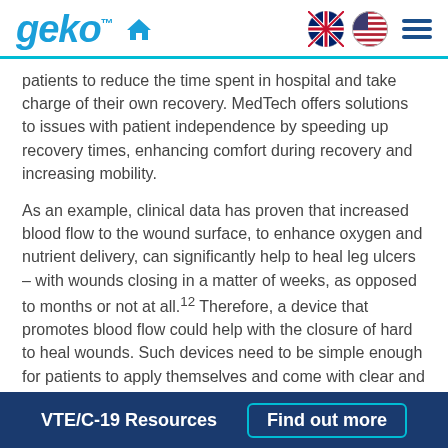geko™ [home icon] [UK flag] [US flag] [menu]
patients to reduce the time spent in hospital and take charge of their own recovery. MedTech offers solutions to issues with patient independence by speeding up recovery times, enhancing comfort during recovery and increasing mobility.
As an example, clinical data has proven that increased blood flow to the wound surface, to enhance oxygen and nutrient delivery, can significantly help to heal leg ulcers – with wounds closing in a matter of weeks, as opposed to months or not at all.12 Therefore, a device that promotes blood flow could help with the closure of hard to heal wounds. Such devices need to be simple enough for patients to apply themselves and come with clear and concise instructions for use. If achieved, such devices could significantly enhance the care pathway and improve
VTE/C-19 Resources    Find out more